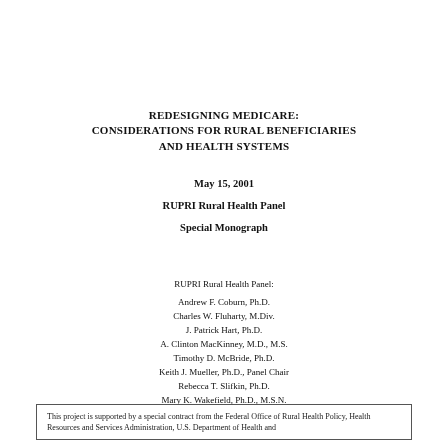REDESIGNING MEDICARE: CONSIDERATIONS FOR RURAL BENEFICIARIES AND HEALTH SYSTEMS
May 15, 2001
RUPRI Rural Health Panel
Special Monograph
RUPRI Rural Health Panel:
Andrew F. Coburn, Ph.D.
Charles W. Fluharty, M.Div.
J. Patrick Hart, Ph.D.
A. Clinton MacKinney, M.D., M.S.
Timothy D. McBride, Ph.D.
Keith J. Mueller, Ph.D., Panel Chair
Rebecca T. Slifkin, Ph.D.
Mary K. Wakefield, Ph.D., M.S.N.
This project is supported by a special contract from the Federal Office of Rural Health Policy, Health Resources and Services Administration, U.S. Department of Health and